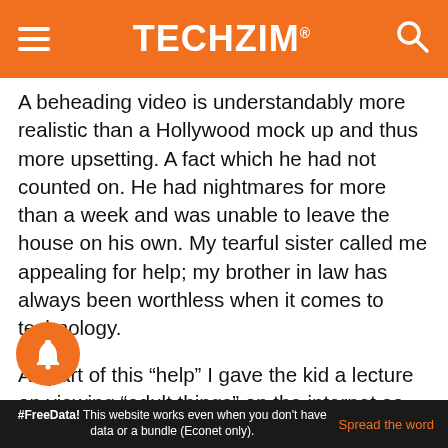TECHZiM
A beheading video is understandably more realistic than a Hollywood mock up and thus more upsetting. A fact which he had not counted on. He had nightmares for more than a week and was unable to leave the house on his own. My tearful sister called me appealing for help; my brother in law has always been worthless when it comes to technology.
As part of this “help” I gave the kid a lecture on viewing “adult things” on the internet as well as the awkward sex talk. I also tried to child proof the family computer which runs Windows 8.1 and I was surprised about how little I knew about the subject. The unfailing help of Google was however enough to see me through
#FreeData! This website works even when you don't have data or a bundle (Econet only).